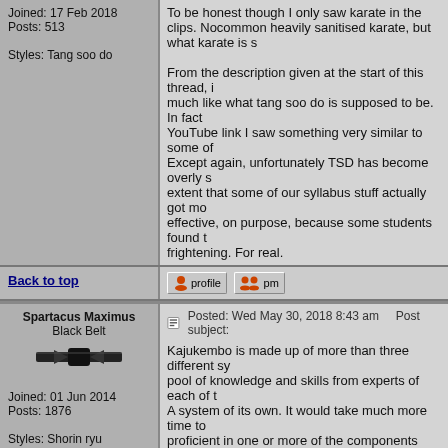Joined: 17 Feb 2018
Posts: 513

Styles: Tang soo do
To be honest though I only saw karate in the clips. N... common heavily sanitised karate, but what karate is s...

From the description given at the start of this thread, i... much like what tang soo do is supposed to be. In fact... YouTube link I saw something very similar to some of... Except again, unfortunately TSD has become overly s... extent that some of our syllabus stuff actually got mo... effective, on purpose, because some students found t... frightening. For real.
Back to top
[Figure (screenshot): Profile button]
[Figure (screenshot): PM button]
Spartacus Maximus
Black Belt
[Figure (illustration): Black belt karate belt icon]
Joined: 01 Jun 2014
Posts: 1876

Styles: Shorin ryu
Posted: Wed May 30, 2018 8:43 am    Post subject:
Kajukembo is made up of more than three different sy... pool of knowledge and skills from experts of each of t... A system of its own. It would take much more time to... proficient in one or more of the components than it mi... comfortable with kajukembo, the synthesis of several
Back to top
[Figure (screenshot): Profile button]
[Figure (screenshot): PM button]